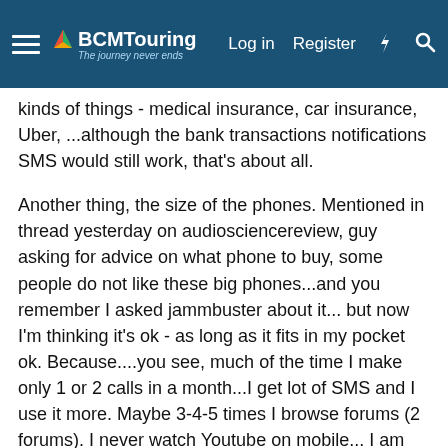BCMTouring — Log in  Register
kinds of things - medical insurance, car insurance, Uber, ...although the bank transactions notifications SMS would still work, that's about all.
Another thing, the size of the phones. Mentioned in thread yesterday on audiosciencereview, guy asking for advice on what phone to buy, some people do not like these big phones...and you remember I asked jammbuster about it... but now I'm thinking it's ok - as long as it fits in my pocket ok. Because....you see, much of the time I make only 1 or 2 calls in a month...I get lot of SMS and I use it more. Maybe 3-4-5 times I browse forums (2 forums). I never watch Youtube on mobile... I am not rich.
And it is not nice on screen size of S5. I have to make it bigger and scroll sideways.